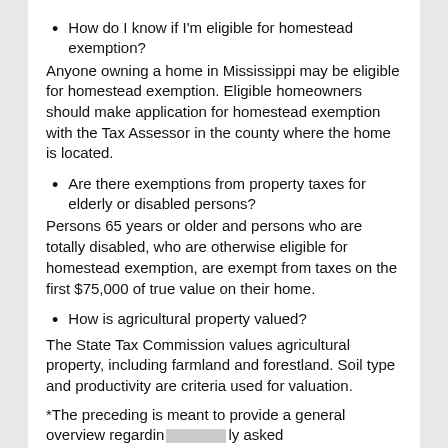How do I know if I'm eligible for homestead exemption?
Anyone owning a home in Mississippi may be eligible for homestead exemption. Eligible homeowners should make application for homestead exemption with the Tax Assessor in the county where the home is located.
Are there exemptions from property taxes for elderly or disabled persons?
Persons 65 years or older and persons who are totally disabled, who are otherwise eligible for homestead exemption, are exempt from taxes on the first $75,000 of true value on their home.
How is agricultural property valued?
The State Tax Commission values agricultural property, including farmland and forestland. Soil type and productivity are criteria used for valuation.
*The preceding is meant to provide a general overview regardin…ly asked